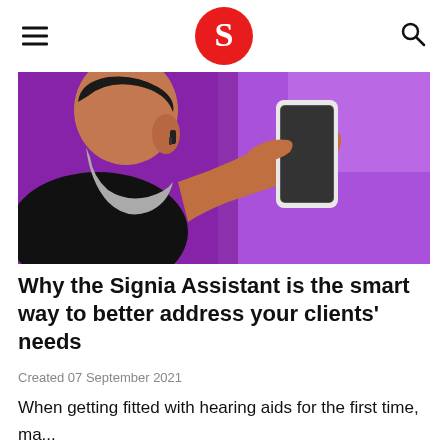Signia — hamburger menu, logo, search icon
[Figure (photo): Man with grey beard seen from behind, wearing hearing aid in left ear, holding a smartphone with right hand and touching the screen with his index finger, against a purple/violet background.]
Why the Signia Assistant is the smart way to better address your clients' needs
Created 07 September 2021
When getting fitted with hearing aids for the first time, ma...